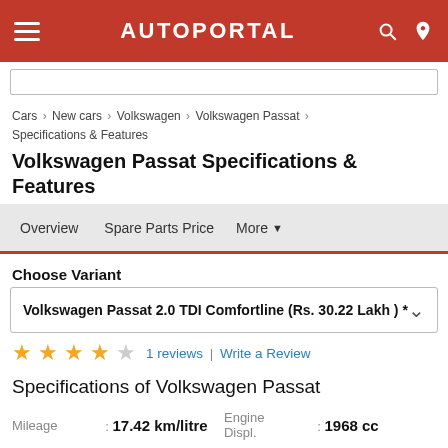AUTOPORTAL
Cars > New cars > Volkswagen > Volkswagen Passat > Specifications & Features
Volkswagen Passat Specifications & Features
Overview  Spare Parts Price  More
Choose Variant
Volkswagen Passat 2.0 TDI Comfortline (Rs. 30.22 Lakh ) *
4/5 stars  1 reviews | Write a Review
Specifications of Volkswagen Passat
| Spec | Value | Spec | Value |
| --- | --- | --- | --- |
| Mileage | 17.42 km/litre | Engine Displ. | 1968 cc |
| Transmission | Automatic | Fuel Type | Diesel |